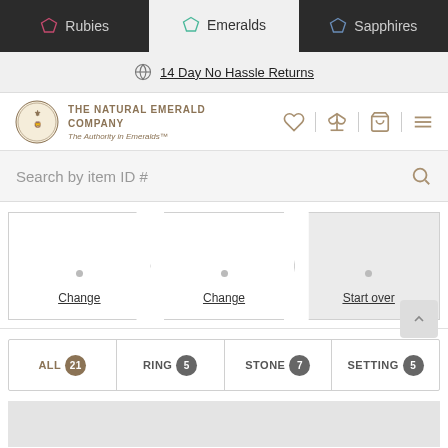Rubies | Emeralds | Sapphires
14 Day No Hassle Returns
[Figure (logo): The Natural Emerald Company crest logo with text: THE NATURAL EMERALD COMPANY, The Authority in Emeralds™]
Search by item ID #
[Figure (infographic): Three-step selector with Change, Change, Start over links]
ALL 21 | RING 5 | STONE 7 | SETTING 5